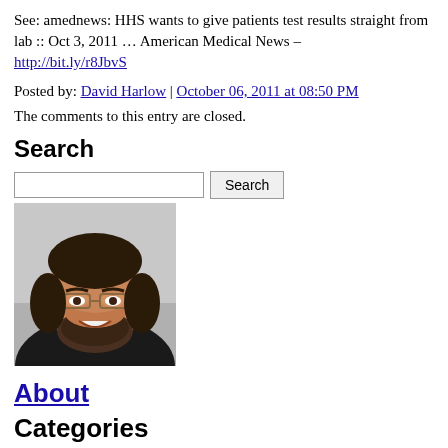See: amednews: HHS wants to give patients test results straight from lab :: Oct 3, 2011 … American Medical News – http://bit.ly/r8JbvS
Posted by: David Harlow | October 06, 2011 at 08:50 PM
The comments to this entry are closed.
Search
[Figure (photo): Portrait photo of a man with a beard and glasses, smiling, dark background]
About
Categories